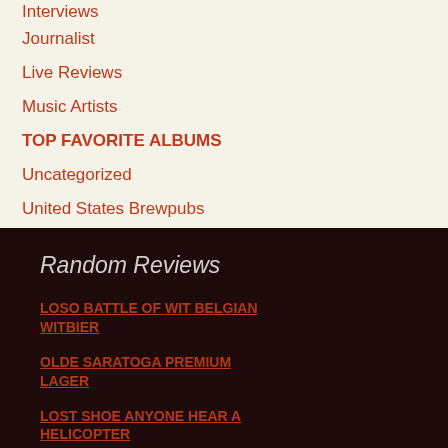Interviews
Journalist
Live Reviews
Music Artists
TOP FAVORITE ALBUMS
Uncategorized
United States Brewpubs
Random Reviews
LOSO BATTLE OF WIT BELGIAN WITBIER
OLDE SARATOGA PREMIUM LAGER
LOST SHOE ANYONE HEAR A HELICOPTER